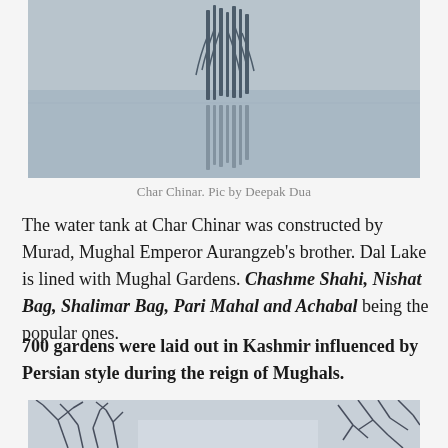[Figure (photo): Black and white / muted photo of bare trees reflected in still water of Dal Lake, misty atmospheric scene]
Char Chinar. Pic by Deepak Dua
The water tank at Char Chinar was constructed by Murad, Mughal Emperor Aurangzeb's brother. Dal Lake is lined with Mughal Gardens. Chashme Shahi, Nishat Bag, Shalimar Bag, Pari Mahal and Achabal being the popular ones.
700 gardens were laid out in Kashmir influenced by Persian style during the reign of Mughals.
[Figure (photo): Black and white photo of bare tree branches against a pale winter sky, split into two sections]